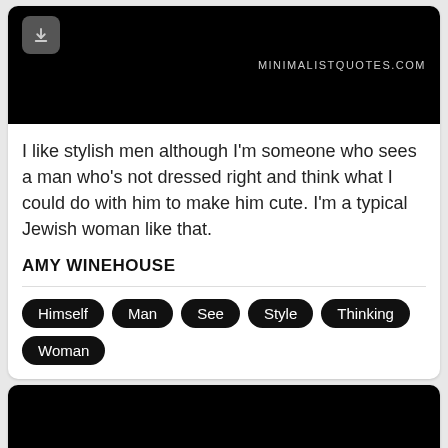[Figure (screenshot): Black background image card with download button and minimalistquotes.com branding]
I like stylish men although I'm someone who sees a man who's not dressed right and think what I could do with him to make him cute. I'm a typical Jewish woman like that.
AMY WINEHOUSE
Himself
Man
See
Style
Thinking
Woman
[Figure (screenshot): Black background quote card with white bold text beginning: I'd like to be remembered as someone who wasn't...]